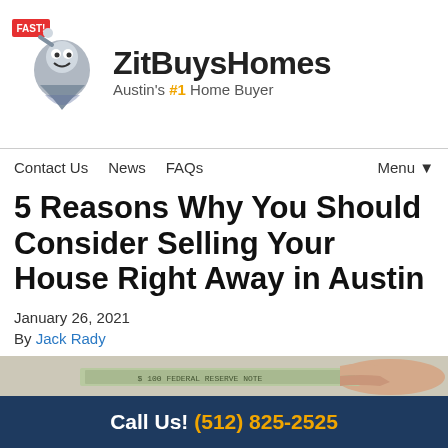[Figure (logo): ZitBuysHomes logo with tornado mascot holding a 'FAST!' sign, alongside brand name 'ZitBuysHomes' and tagline "Austin's #1 Home Buyer"]
Contact Us   News   FAQs                                Menu ▼
5 Reasons Why You Should Consider Selling Your House Right Away in Austin
January 26, 2021
By Jack Rady
[Figure (photo): Partial photo showing a hand holding cash/money bills]
Call Us! (512) 825-2525